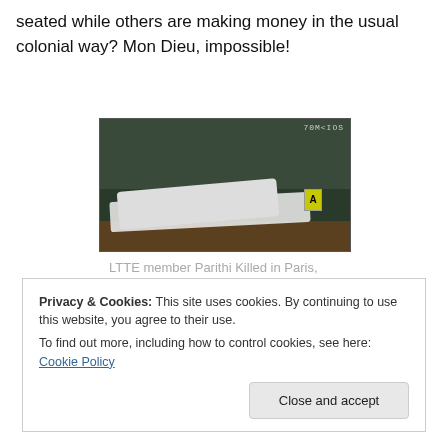seated while others are making money in the usual colonial way? Mon Dieu, impossible!
[Figure (photo): A crime scene photograph showing a body covered with white cloth on the ground, with a yellow evidence marker labeled 'A' visible nearby. The image appears to be taken at night or in low light conditions.]
LTTE member Parithi Killed in Paris, 2011
Privacy & Cookies: This site uses cookies. By continuing to use this website, you agree to their use.
To find out more, including how to control cookies, see here: Cookie Policy
Close and accept